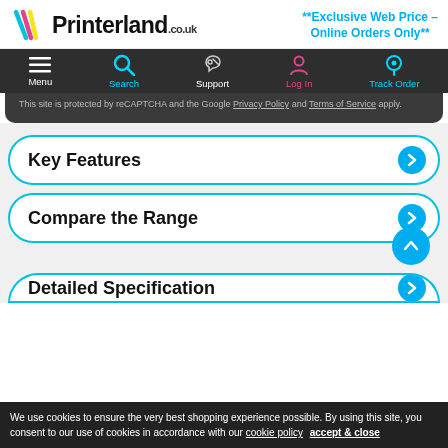[Figure (logo): Printerland.co.uk logo with colorful stripe marks on the left]
**Exclusive Web Price – Online Orders Only**
[Figure (screenshot): Navigation bar with Menu, Search, Support, Log In, Track Order icons on dark background]
This site is protected by reCAPTCHA and the Google Privacy Policy and Terms of Service apply.
Key Features
Compare the Range
Detailed Specification
We use cookies to ensure the very best shopping experience possible. By using this site, you consent to our use of cookies in accordance with our cookie policy   accept & close